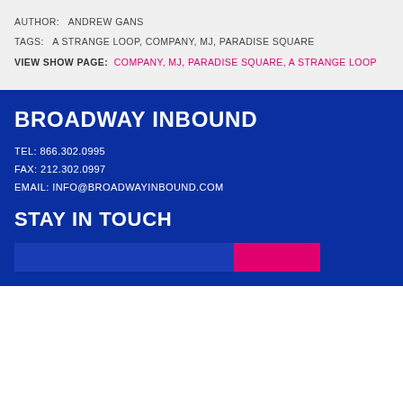AUTHOR: ANDREW GANS
TAGS: A STRANGE LOOP, COMPANY, MJ, PARADISE SQUARE
VIEW SHOW PAGE: COMPANY, MJ, PARADISE SQUARE, A STRANGE LOOP
BROADWAY INBOUND
TEL: 866.302.0995
FAX: 212.302.0997
EMAIL: INFO@BROADWAYINBOUND.COM
STAY IN TOUCH